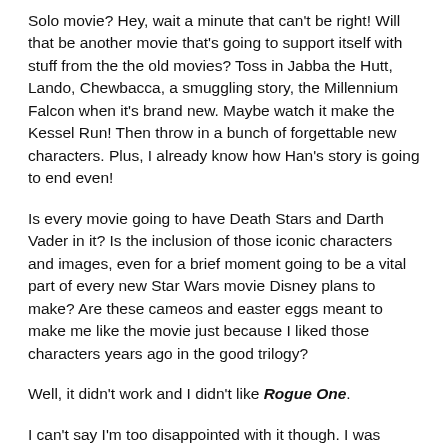Solo movie? Hey, wait a minute that can't be right! Will that be another movie that's going to support itself with stuff from the the old movies? Toss in Jabba the Hutt, Lando, Chewbacca, a smuggling story, the Millennium Falcon when it's brand new. Maybe watch it make the Kessel Run! Then throw in a bunch of forgettable new characters. Plus, I already know how Han's story is going to end even!
Is every movie going to have Death Stars and Darth Vader in it? Is the inclusion of those iconic characters and images, even for a brief moment going to be a vital part of every new Star Wars movie Disney plans to make? Are these cameos and easter eggs meant to make me like the movie just because I liked those characters years ago in the good trilogy?
Well, it didn't work and I didn't like Rogue One.
I can't say I'm too disappointed with it though. I was feeling indifferent about Rogue One way back when it was announced and had no expectations for it. I hadn't even planned on seeing it until my friend invited me to watch it at his theater.